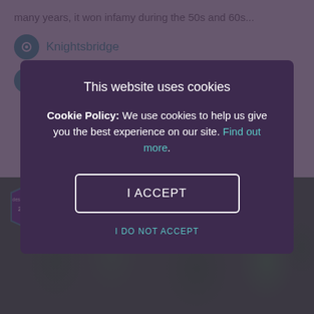many years, it won infamy during the 50s and 60s...
Knightsbridge
Pub
[Figure (screenshot): Cookie consent modal overlay on a website showing a cookie policy notice with 'I ACCEPT' button and 'I DO NOT ACCEPT' link]
This website uses cookies
Cookie Policy: We use cookies to help us give you the best experience on our site. Find out more.
I ACCEPT
I DO NOT ACCEPT
[Figure (photo): Outdoor venue photo with tropical plants and trees, with a Design My Night 2018/19 badge in the top left corner]